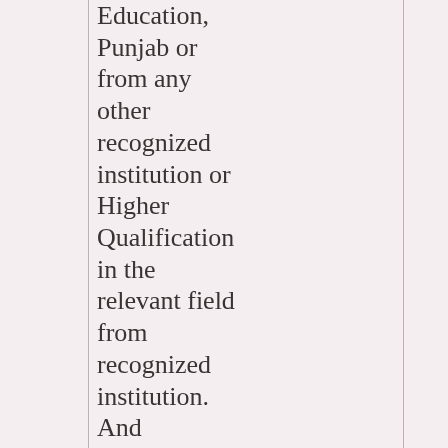Education, Punjab or from any other recognized institution or Higher Qualification in the relevant field from recognized institution. And An experience for a minimum period of four years